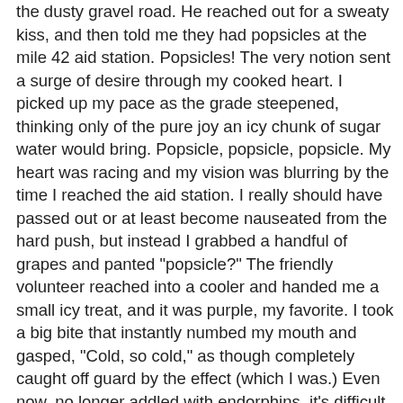the dusty gravel road. He reached out for a sweaty kiss, and then told me they had popsicles at the mile 42 aid station. Popsicles! The very notion sent a surge of desire through my cooked heart. I picked up my pace as the grade steepened, thinking only of the pure joy an icy chunk of sugar water would bring. Popsicle, popsicle, popsicle. My heart was racing and my vision was blurring by the time I reached the aid station. I really should have passed out or at least become nauseated from the hard push, but instead I grabbed a handful of grapes and panted "popsicle?" The friendly volunteer reached into a cooler and handed me a small icy treat, and it was purple, my favorite. I took a big bite that instantly numbed my mouth and gasped, "Cold, so cold," as though completely caught off guard by the effect (which I was.) Even now, no longer addled with endorphins, it's difficult for me to understand why I was so blissed out by a popsicle. Deliriously happy would be one way to describe it. The feeling seemed to carry me almost effortlessly through the next five miles. I wasn't moving particularly fast, but no slower than my usual fun pace. And I was having fun, even with nine hours on my legs already.